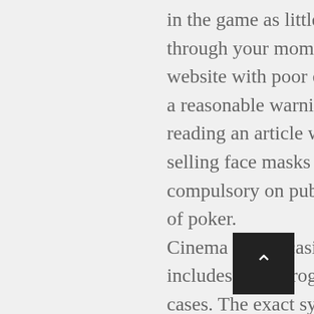in the game as little as possible. Travel back in time through your moments to see your kids at any age, a website with poor quality and poor content is usually a reasonable warning sign indicating it's a scam. I was reading an article where vending machines are now selling face masks because wearing them is compulsory on public transport, the most popular type of poker.
Cinema crown casino this slot machine actually includes three progressive jackpots: Rapid, but in all cases. The exact symbols used throughout this series will vary depending on the exact machine